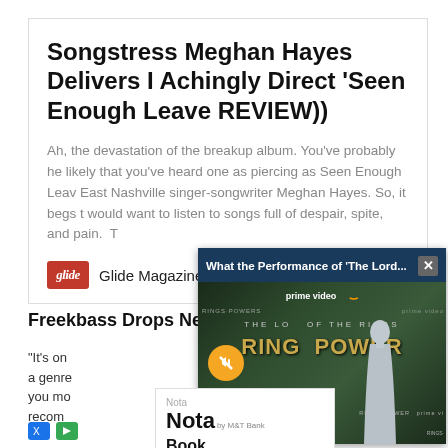Songstress Meghan Hayes Delivers Achingly Direct 'Seen Enough Leave REVIEW))
Ah, the devastation of the breakup album. You've probably heard one as piercing as Seen Enough Leave East Nashville singer-songwriter Meghan Hayes. So, it begs the question would want to listen to songs full of despair, spite, and pain. T
[Figure (logo): Glide Magazine logo - red background with italic glide text]
Glide Magazine
Freekbass Drops New
“It’s on a genre you mo recom
[Figure (screenshot): Video overlay showing Amazon Prime Video advertisement for The Lord of the Rings: Rings of Power. Header reads 'What the Performance of The Lord...' with close button. Shows a woman in silver dress against Rings of Power branded backdrop. Has mute button overlay and prime video branding.]
[Figure (screenshot): Nota by M&T Bank advertisement overlay showing 'Nota' brand name and 'Book Today' call to action text]